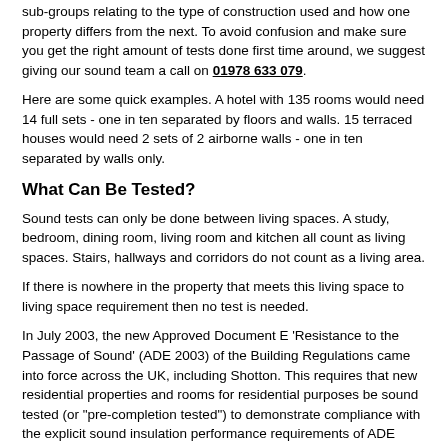sub-groups relating to the type of construction used and how one property differs from the next. To avoid confusion and make sure you get the right amount of tests done first time around, we suggest giving our sound team a call on 01978 633 079.
Here are some quick examples. A hotel with 135 rooms would need 14 full sets - one in ten separated by floors and walls. 15 terraced houses would need 2 sets of 2 airborne walls - one in ten separated by walls only.
What Can Be Tested?
Sound tests can only be done between living spaces. A study, bedroom, dining room, living room and kitchen all count as living spaces. Stairs, hallways and corridors do not count as a living area.
If there is nowhere in the property that meets this living space to living space requirement then no test is needed.
In July 2003, the new Approved Document E 'Resistance to the Passage of Sound' (ADE 2003) of the Building Regulations came into force across the UK, including Shotton. This requires that new residential properties and rooms for residential purposes be sound tested (or "pre-completion tested") to demonstrate compliance with the explicit sound insulation performance requirements of ADE 2003.
Guidance in ADE 2003 on pre-completion testing indicates that sound tests should be carried out at a rate of one set of tests per each construction sub-group completed, no matter the size of the development, and thereafter at least one set of tests every ten completions (assuming no failures).
The onus is on the developer to perform pre-completion testing